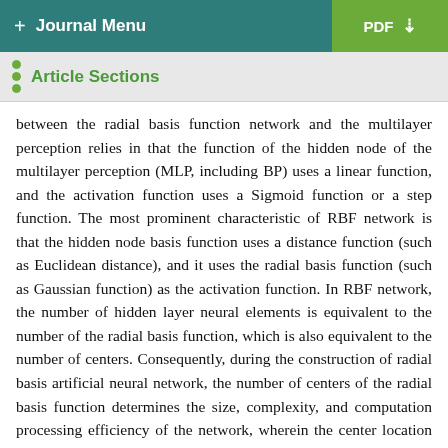+ Journal Menu | PDF
Article Sections
between the radial basis function network and the multilayer perception relies in that the function of the hidden node of the multilayer perception (MLP, including BP) uses a linear function, and the activation function uses a Sigmoid function or a step function. The most prominent characteristic of RBF network is that the hidden node basis function uses a distance function (such as Euclidean distance), and it uses the radial basis function (such as Gaussian function) as the activation function. In RBF network, the number of hidden layer neural elements is equivalent to the number of the radial basis function, which is also equivalent to the number of centers. Consequently, during the construction of radial basis artificial neural network, the number of centers of the radial basis function determines the size, complexity, and computation processing efficiency of the network, wherein the center location of the radial basis function can affect the convergence rate of the network.